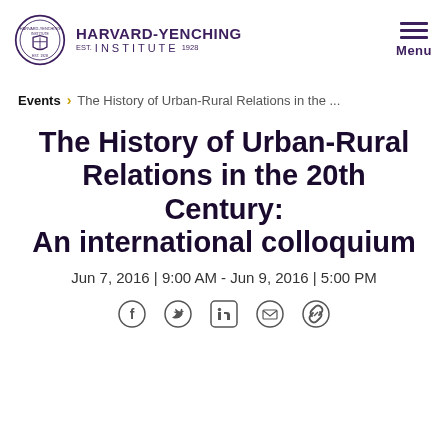HARVARD-YENCHING INSTITUTE — Menu
Events > The History of Urban-Rural Relations in the ...
The History of Urban-Rural Relations in the 20th Century: An international colloquium
Jun 7, 2016 | 9:00 AM - Jun 9, 2016 | 5:00 PM
[Figure (other): Social media icons: Facebook, Twitter, LinkedIn, Email, Link]